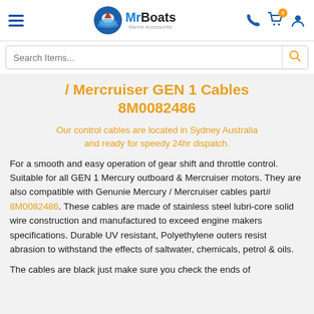MrBoats Marine Accessories – navigation header with hamburger menu, logo, phone, cart, and user icons
/ Mercruiser GEN 1 Cables 8M0082486
Our control cables are located in Sydney Australia and ready for speedy 24hr dispatch.
For a smooth and easy operation of gear shift and throttle control. Suitable for all GEN 1 Mercury outboard & Mercruiser motors. They are also compatible with Genuine Mercury / Mercruiser cables part# 8M0082486. These cables are made of stainless steel lubri-core solid wire construction and manufactured to exceed engine makers specifications. Durable UV resistant, Polyethylene outers resist abrasion to withstand the effects of saltwater, chemicals, petrol & oils.
The cables are black just make sure you check the ends of